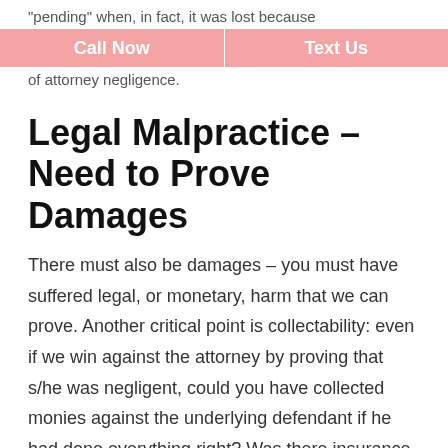“pending” when, in fact, it was lost because
Call Now | Text Us
of attorney negligence.
Legal Malpractice – Need to Prove Damages
There must also be damages – you must have suffered legal, or monetary, harm that we can prove. Another critical point is collectability: even if we win against the attorney by proving that s/he was negligent, could you have collected monies against the underlying defendant if he had done everything right? Was there insurance or